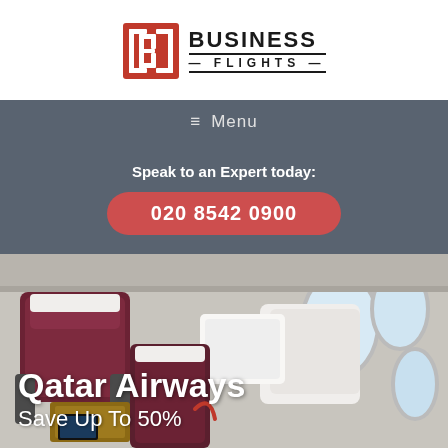[Figure (logo): Business Flights logo: red square icon with white B letter inside, next to bold text 'BUSINESS FLIGHTS']
≡ Menu
Speak to an Expert today:
020 8542 0900
[Figure (photo): Qatar Airways business class airplane interior showing maroon leather seats with white pillows and personal screens]
Qatar Airways
Save Up To 50%